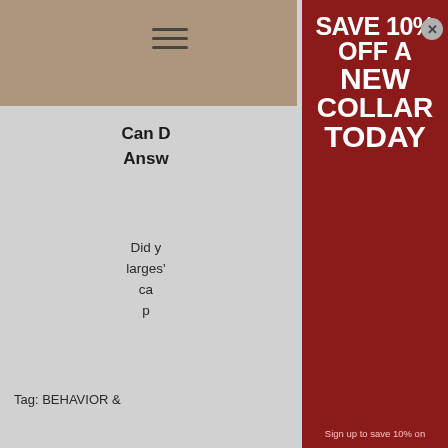[Figure (screenshot): Website page background showing tan/beige header with hamburger menu icon, partially visible behind a promotional modal overlay]
Can D Answ
Did y larges' ca p
Tag: BEHAVIOR &
[Figure (infographic): Dark red promotional modal dialog with white bold text reading SAVE 10% OFF A NEW COLLAR TODAY, with a close button (X) in top right corner and subtext 'Sign up to save 10% on' at bottom]